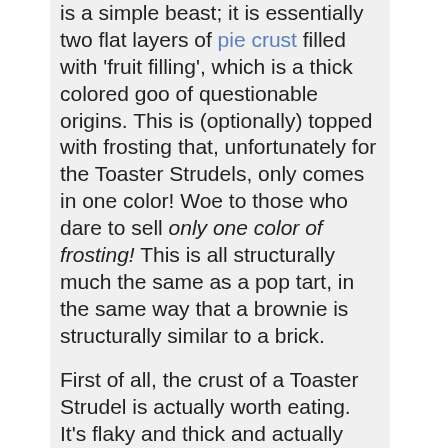is a simple beast; it is essentially two flat layers of pie crust filled with 'fruit filling', which is a thick colored goo of questionable origins. This is (optionally) topped with frosting that, unfortunately for the Toaster Strudels, only comes in one color! Woe to those who dare to sell only one color of frosting! This is all structurally much the same as a pop tart, in the same way that a brownie is structurally similar to a brick.
First of all, the crust of a Toaster Strudel is actually worth eating. It's flaky and thick and actually resembles known bread substances like pie crust or Pillsbury's flaky biscuits. The filling is also superior: it